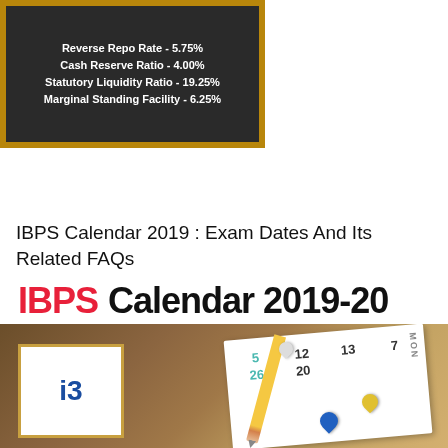[Figure (illustration): Chalkboard with financial rates: Reverse Repo Rate 5.75%, Cash Reserve Ratio 4.00%, Statutory Liquidity Ratio 19.25%, Marginal Standing Facility 6.25%]
FEATURED POST
IBPS Calendar 2019 : Exam Dates And Its Related FAQs
[Figure (illustration): IBPS Calendar 2019-20 banner image with a calendar, pencil, push pins and IBPS logo]